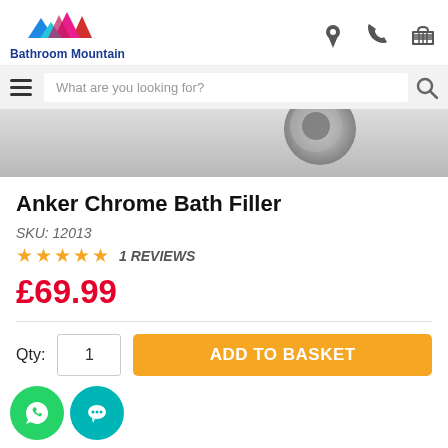[Figure (logo): Bathroom Mountain logo with colorful mountain peaks (pink, blue, teal, red) and brand name text below]
What are you looking for?
[Figure (photo): Product image strip showing chrome bath filler tap detail on grey background]
Anker Chrome Bath Filler
SKU: 12013
★★★★★   1 REVIEWS
£69.99
Qty:  1   ADD TO BASKET